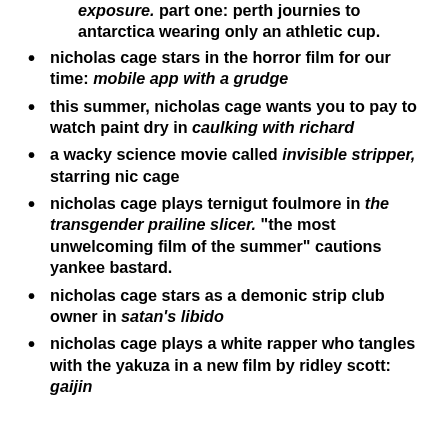exposure. part one: perth journies to antarctica wearing only an athletic cup.
nicholas cage stars in the horror film for our time: mobile app with a grudge
this summer, nicholas cage wants you to pay to watch paint dry in caulking with richard
a wacky science movie called invisible stripper, starring nic cage
nicholas cage plays ternigut foulmore in the transgender prailine slicer. "the most unwelcoming film of the summer" cautions yankee bastard.
nicholas cage stars as a demonic strip club owner in satan's libido
nicholas cage plays a white rapper who tangles with the yakuza in a new film by ridley scott: gaijin